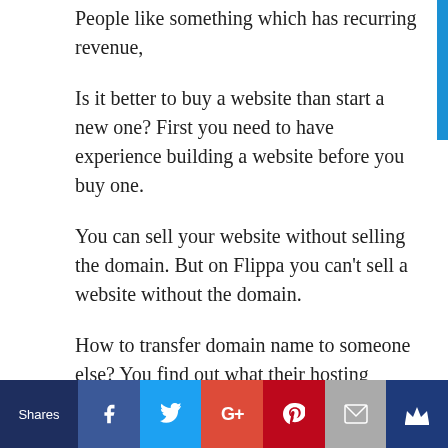People like something which has recurring revenue,
Is it better to buy a website than start a new one? First you need to have experience building a website before you buy one.
You can sell your website without selling the domain. But on Flippa you can’t sell a website without the domain.
How to transfer domain name to someone else? You find out what their hosting provider is and you transfer it to them.
How to find the price of your website? Find a
Shares | Facebook | Twitter | G+ | Pinterest | Email | Crown